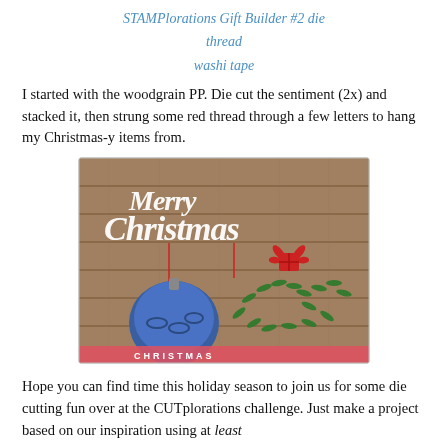STAMPlorations Gift Builder #2 die
thread
washi tape
I started with the woodgrain PP. Die cut the sentiment (2x) and stacked it, then strung some red thread through a few letters to hang my Christmas-y items from.
[Figure (photo): A handmade Christmas card featuring a woodgrain patterned paper background with a white die-cut 'Merry Christmas' sentiment layered on top. Below hang a blue ornament and a red gift bow, with green fern/leaf die cuts. A red washi tape strip appears at the bottom.]
Hope you can find time this holiday season to join us for some die cutting fun over at the CUTplorations challenge. Just make a project based on our inspiration using at least